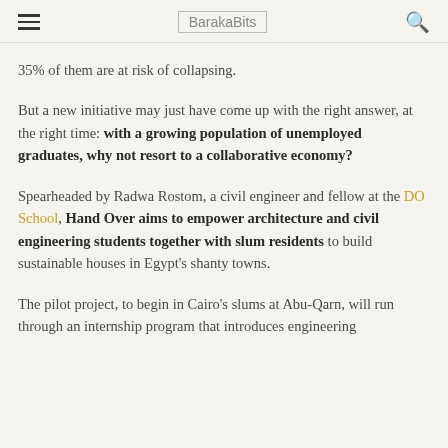BarakaBits
35% of them are at risk of collapsing.
But a new initiative may just have come up with the right answer, at the right time: with a growing population of unemployed graduates, why not resort to a collaborative economy?
Spearheaded by Radwa Rostom, a civil engineer and fellow at the DO School, Hand Over aims to empower architecture and civil engineering students together with slum residents to build sustainable houses in Egypt’s shanty towns.
The pilot project, to begin in Cairo’s slums at Abu-Qarn, will run through an internship program that introduces engineering